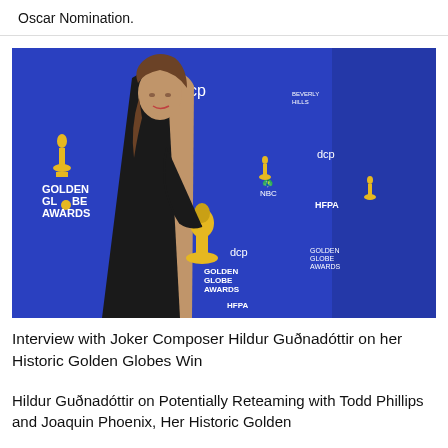Oscar Nomination.
[Figure (photo): Hildur Guðnadóttir standing in front of a Golden Globe Awards step-and-repeat backdrop holding a golden globe award trophy, wearing a black sequined gown. The backdrop features logos for Golden Globe Awards, NBC, HFPA, dcp, and Beverly Hills.]
Interview with Joker Composer Hildur Guðnadóttir on her Historic Golden Globes Win
Hildur Guðnadóttir on Potentially Reteaming with Todd Phillips and Joaquin Phoenix, Her Historic Golden